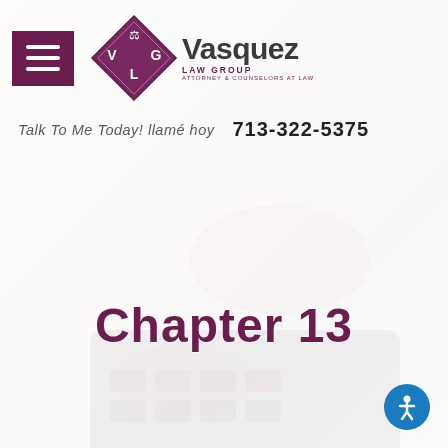[Figure (photo): Background photo of hands using a calculator, softly faded with white overlay]
[Figure (logo): Vasquez Law Group logo: diamond shape with V, G, L letters and scales of justice icon, alongside firm name 'Vasquez Law Group, Attorney & Counselors at Law']
Talk To Me Today! llamé hoy   713-322-5375
Chapter 13
[Figure (other): Blue circular accessibility icon with person/wheelchair symbol]